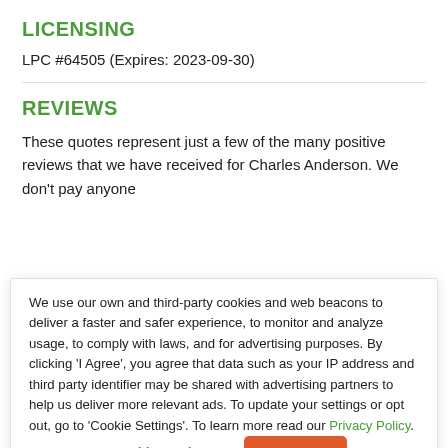LICENSING
LPC #64505 (Expires: 2023-09-30)
REVIEWS
These quotes represent just a few of the many positive reviews that we have received for Charles Anderson. We don't pay anyone
We use our own and third-party cookies and web beacons to deliver a faster and safer experience, to monitor and analyze usage, to comply with laws, and for advertising purposes. By clicking 'I Agree', you agree that data such as your IP address and third party identifier may be shared with advertising partners to help us deliver more relevant ads. To update your settings or opt out, go to 'Cookie Settings'. To learn more read our Privacy Policy.
Cookie Settings
I Agree